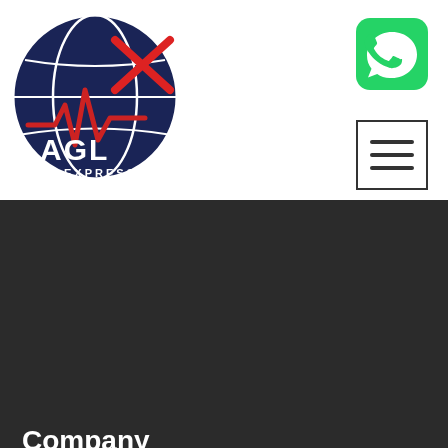[Figure (logo): AGL Express circular logo with dark blue background, white globe, red X mark, and red ECG/heartbeat line. AGL text in white, EXPRESS in white below.]
[Figure (logo): WhatsApp green rounded square icon with white phone handset logo, top right corner.]
[Figure (illustration): Hamburger menu icon: three horizontal dark lines inside a square border.]
Company
About Company
Our History
Quick Links
9:00 AM-9:00 PM
[Figure (illustration): Green circular button with white phone handset icon.]